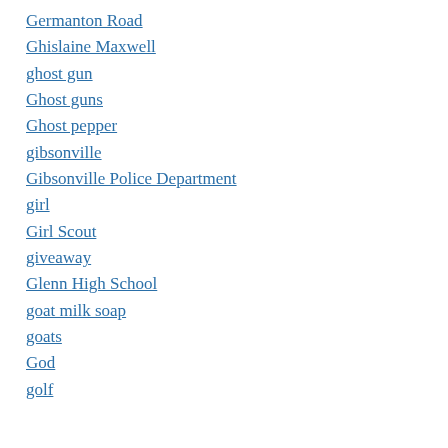Germanton Road
Ghislaine Maxwell
ghost gun
Ghost guns
Ghost pepper
gibsonville
Gibsonville Police Department
girl
Girl Scout
giveaway
Glenn High School
goat milk soap
goats
God
golf